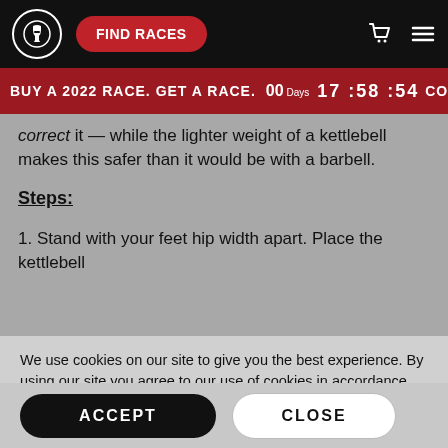FIND RACES
BUY A 2022 RACE. GET A RACE.  00 Days  17 : 58 : 54  COMMIT >
correct it — while the lighter weight of a kettlebell makes this safer than it would be with a barbell.
Steps:
1. Stand with your feet hip width apart. Place the kettlebell
We use cookies on our site to give you the best experience. By using our site you agree to our use of cookies in accordance with our Privacy Policy.
ACCEPT
CLOSE